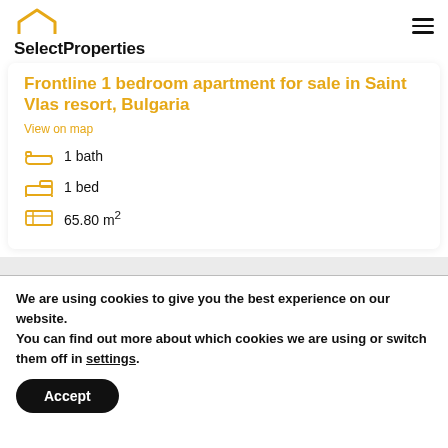[Figure (logo): SelectProperties logo with house outline icon above bold text]
Frontline 1 bedroom apartment for sale in Saint Vlas resort, Bulgaria
View on map
1 bath
1 bed
65.80 m²
We are using cookies to give you the best experience on our website.
You can find out more about which cookies we are using or switch them off in settings.
Accept